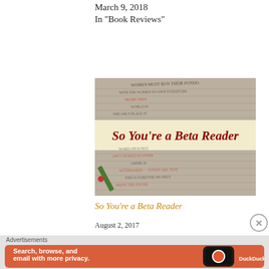March 9, 2018
In "Book Reviews"
[Figure (photo): Photo of handwritten notebook pages with a green pen, overlaid with the title text 'So You're a Beta Reader' in dark red italic script on a cream banner.]
So You're a Beta Reader
August 2, 2017
Advertisements
[Figure (other): DuckDuckGo advertisement banner: orange background with text 'Search, browse, and email with more privacy. All in One Free App' and an image of a smartphone with DuckDuckGo logo.]